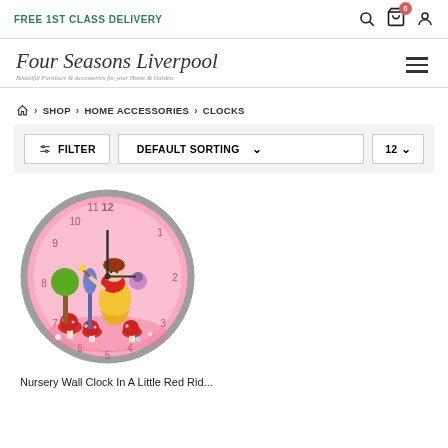FREE 1ST CLASS DELIVERY
[Figure (logo): Four Seasons Liverpool logo with italic script text and tagline 'Beautiful Furniture & Accessories for your Home & Garden']
HOME > SHOP > HOME ACCESSORIES > CLOCKS
FILTER | DEFAULT SORTING | 12
[Figure (photo): Nursery wall clock with pink background featuring a Little Red Riding Hood fairy tale illustration with a girl character, mushrooms, trees, and clock numbers on a circular clock face with grey border]
Nursery Wall Clock In A Little Red Rid...